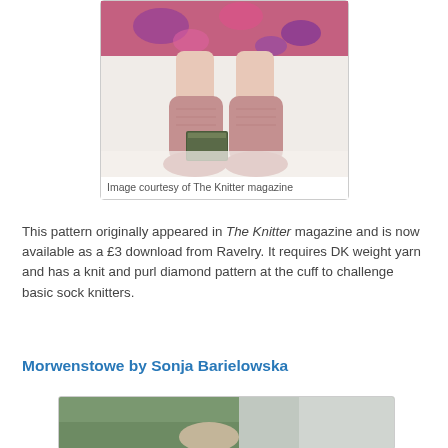[Figure (photo): Photo of feet wearing pink/mauve knitted socks, sitting on a bed with a book nearby, wearing a floral pink dress.]
Image courtesy of The Knitter magazine
This pattern originally appeared in The Knitter magazine and is now available as a £3 download from Ravelry. It requires DK weight yarn and has a knit and purl diamond pattern at the cuff to challenge basic sock knitters.
Morwenstowe by Sonja Barielowska
[Figure (photo): Partial photo showing knitted socks or legwear in grey tones, outdoors background.]